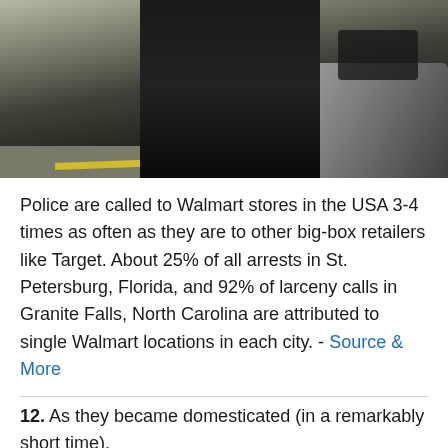[Figure (photo): A police officer in uniform standing next to a police car in a parking lot]
Police are called to Walmart stores in the USA 3-4 times as often as they are to other big-box retailers like Target. About 25% of all arrests in St. Petersburg, Florida, and 92% of larceny calls in Granite Falls, North Carolina are attributed to single Walmart locations in each city. - Source & More
12. As they became domesticated (in a remarkably short time), dogs evolved specific muscles that allowed them to raise their inner eyebrows, creating more human-like expressions. Dogs who made this expression were more irresistible to their owners...